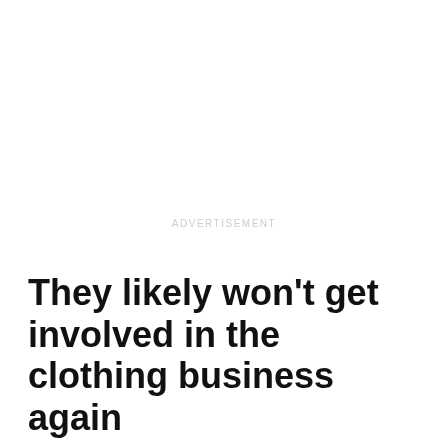ADVERTISEMENT
They likely won't get involved in the clothing business again